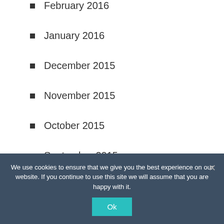February 2016
January 2016
December 2015
November 2015
October 2015
September 2015
August 2015
July 2015
We use cookies to ensure that we give you the best experience on our website. If you continue to use this site we will assume that you are happy with it.
Ok